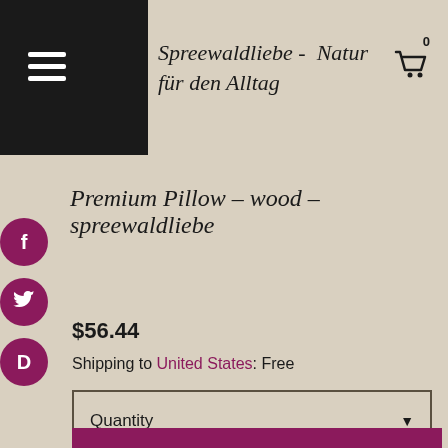Spreewaldliebe -  Natur für den Alltag
Premium Pillow - wood - spreewaldliebe
$56.44
Shipping to United States: Free
Quantity